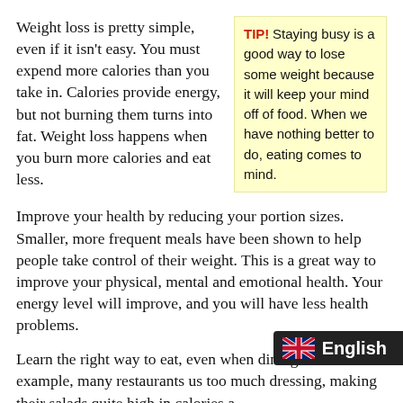Weight loss is pretty simple, even if it isn't easy. You must expend more calories than you take in. Calories provide energy, but not burning them turns into fat. Weight loss happens when you burn more calories and eat less.
TIP! Staying busy is a good way to lose some weight because it will keep your mind off of food. When we have nothing better to do, eating comes to mind.
Improve your health by reducing your portion sizes. Smaller, more frequent meals have been shown to help people take control of their weight. This is a great way to improve your physical, mental and emotional health. Your energy level will improve, and you will have less health problems.
Learn the right way to eat, even when dining out. For example, many restaurants us too much dressing, making their salads quite high in calories and fat. Ordering dressing separately and using half the amount can make your salad a much healthier option. Your diet will be much easier to